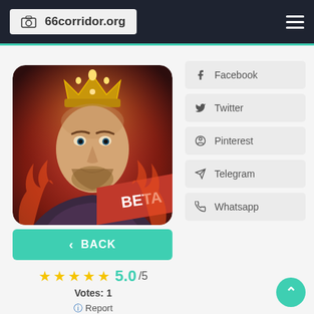66corridor.org
[Figure (screenshot): Game app icon showing a king with a golden crown on a red fiery background with 'BETA' label in the corner]
BACK
★★★★★ 5.0/5
Votes: 1
Report
Facebook
Twitter
Pinterest
Telegram
Whatsapp